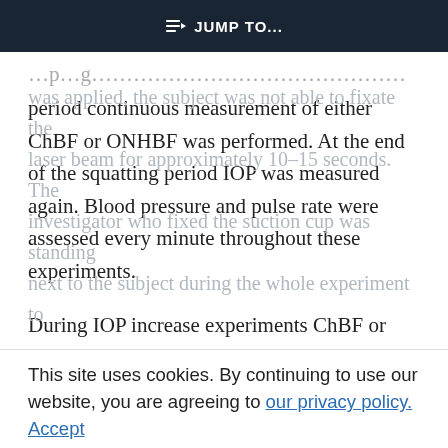JUMP TO...
period continuous measurement of either ChBF or ONHBF was performed. At the end of the squatting period IOP was measured again. Blood pressure and pulse rate were assessed every minute throughout these experiments.
During IOP increase experiments ChBF or ONHBF also was measured continuously for three minutes at baseline. Then, the suction cup was applied using a suction force of 50 mm Hg. When the suction cup
was applied, the subject was not able to fixate the laser beam for approximately 10–15 seconds. The investigator who fixed the suction cup was standing next to the subject during the whole experiment to
This site uses cookies. By continuing to use our website, you are agreeing to our privacy policy. Accept